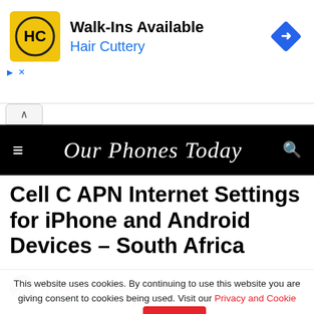[Figure (illustration): Hair Cuttery advertisement banner with yellow HC logo, text 'Walk-Ins Available' and 'Hair Cuttery' in blue, and a blue diamond direction sign icon]
Our Phones Today
Cell C APN Internet Settings for iPhone and Android Devices – South Africa
by Vincent — 2022-07-28  Reading Time: 3 mins read
This website uses cookies. By continuing to use this website you are giving consent to cookies being used. Visit our Privacy and Cookie Policy.  I Agree